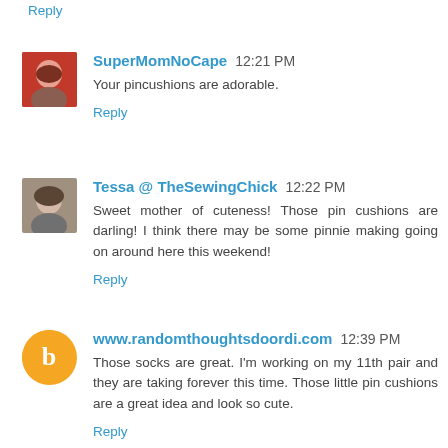Reply
SuperMomNoCape  12:21 PM
Your pincushions are adorable.
Reply
Tessa @ TheSewingChick  12:22 PM
Sweet mother of cuteness! Those pin cushions are darling! I think there may be some pinnie making going on around here this weekend!
Reply
www.randomthoughtsdoordi.com  12:39 PM
Those socks are great. I'm working on my 11th pair and they are taking forever this time. Those little pin cushions are a great idea and look so cute.
Reply